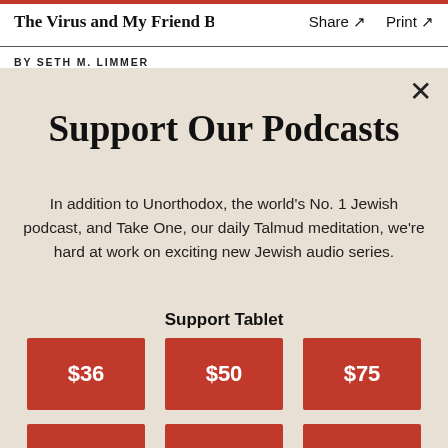The Virus and My Friend Be…   Share ↗   Print ↗
BY SETH M. LIMMER
Support Our Podcasts
In addition to Unorthodox, the world's No. 1 Jewish podcast, and Take One, our daily Talmud meditation, we're hard at work on exciting new Jewish audio series.
Support Tablet
$36   $50   $75